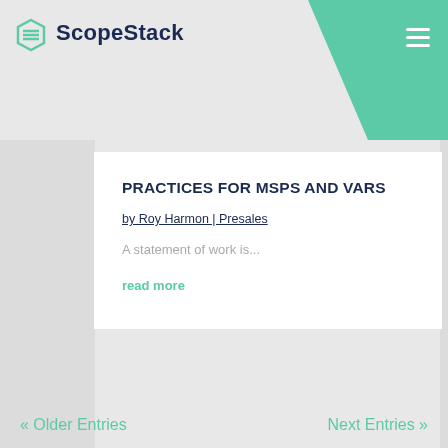ScopeStack
PRACTICES FOR MSPS AND VARS
by Roy Harmon | Presales
A statement of work is...
read more
« Older Entries
Next Entries »